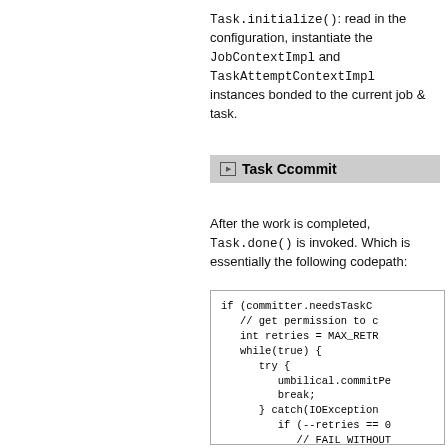Task.initialize(): read in the configuration, instantiate the JobContextImpl and TaskAttemptContextImpl instances bonded to the current job & task.
Task Ccommit
After the work is completed, Task.done() is invoked. Which is essentially the following codepath:
[Figure (screenshot): Code block showing: if (committer.needsTaskC // get permission to c int retries = MAX_RETR while(true) { try { umbilical.commitPe break; } catch(IOException if (--retries == 0 // FAIL WITHOUT System.exit(67); } } }]